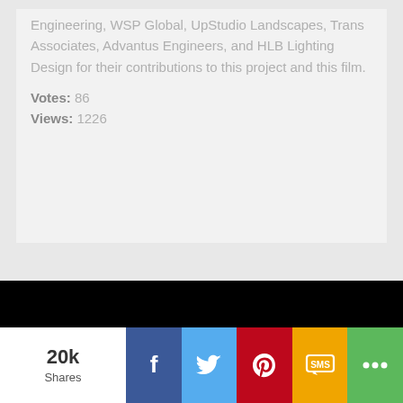Engineering, WSP Global, UpStudio Landscapes, Trans Associates, Advantus Engineers, and HLB Lighting Design for their contributions to this project and this film.
Votes: 86
Views: 1226
We use cookies and other tracking technologies for performance, analytics, marketing, and more customized site experiences. By continuing to browse this site you are agreeing to our terms. Learn more about these in our Privacy Policy . AIA reserves the right to delete content and suspend user accounts that it determines to be inappropriate.
20k Shares